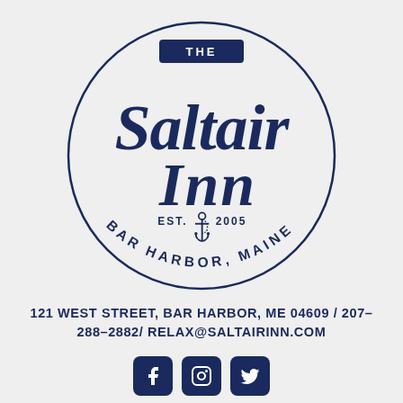[Figure (logo): The Saltair Inn circular logo with nautical anchor, EST. 2005, Bar Harbor, Maine]
121 WEST STREET, BAR HARBOR, ME 04609 / 207-288-2882/ RELAX@SALTAIRINN.COM
[Figure (other): Social media icons: Facebook, Instagram, and one more]